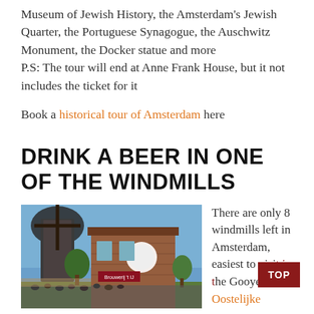Museum of Jewish History, the Amsterdam's Jewish Quarter, the Portuguese Synagogue, the Auschwitz Monument, the Docker statue and more
P.S: The tour will end at Anne Frank House, but it not includes the ticket for it
Book a historical tour of Amsterdam here
DRINK A BEER IN ONE OF THE WINDMILLS
[Figure (photo): Outdoor photo of a windmill brewery building with trees and a crowd of people gathered outside on a sunny day.]
There are only 8 windmills left in Amsterdam, easiest to visit is the Gooyer in Oostelijke